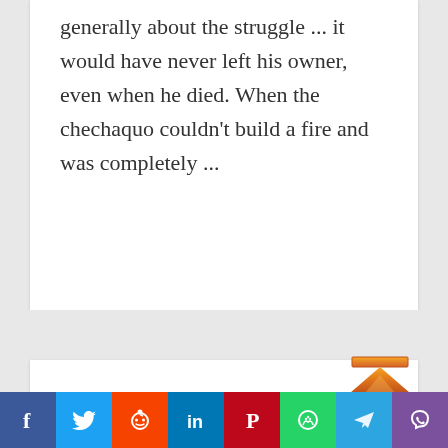generally about the struggle ... it would have never left his owner, even when he died. When the chechaquo couldn't build a fire and was completely ...
[Figure (other): Upload/share icon — orange upward arrow with a horizontal bar on top, rendered in gradient orange style]
essay  The Call Of Jack London
Social sharing bar: Facebook, Twitter, Reddit, LinkedIn, Pinterest, WhatsApp, Telegram, Viber